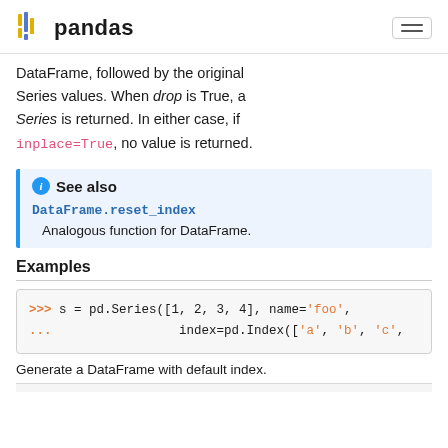pandas
DataFrame, followed by the original Series values. When drop is True, a Series is returned. In either case, if inplace=True, no value is returned.
See also
DataFrame.reset_index
Analogous function for DataFrame.
Examples
>>> s = pd.Series([1, 2, 3, 4], name='foo',
...                index=pd.Index(['a', 'b', 'c',
Generate a DataFrame with default index.